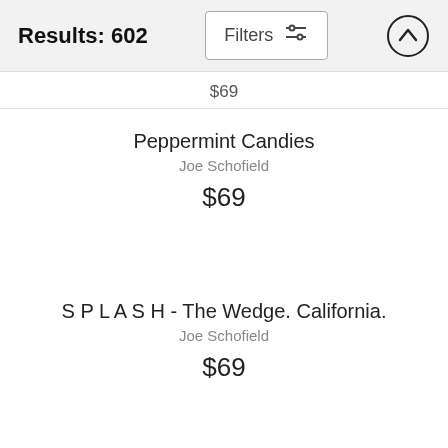Results: 602
Filters
$69
Peppermint Candies
Joe Schofield
$69
S P L A S H - The Wedge. California.
Joe Schofield
$69